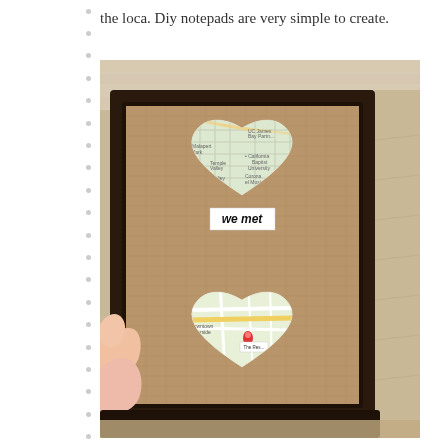the loca. Diy notepads are very simple to create.
[Figure (photo): A hand holding a dark-framed artwork featuring a burlap background with two heart-shaped map cutouts and a small label reading 'we met' between them. The top heart shows a street map and the bottom heart shows a Google Maps style map with a red location pin.]